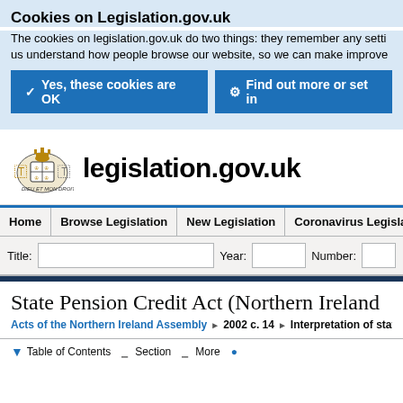Cookies on Legislation.gov.uk
The cookies on legislation.gov.uk do two things: they remember any setti us understand how people browse our website, so we can make improve
✓  Yes, these cookies are OK
⚙  Find out more or set in
[Figure (logo): Royal coat of arms of the United Kingdom]
legislation.gov.uk
Home | Browse Legislation | New Legislation | Coronavirus Legislatio
Title:  Year:  Number:
State Pension Credit Act (Northern Ireland
Acts of the Northern Ireland Assembly ▶ 2002 c. 14 ▶ Interpretation of state
▼ Table of Contents — Section — More — Resources